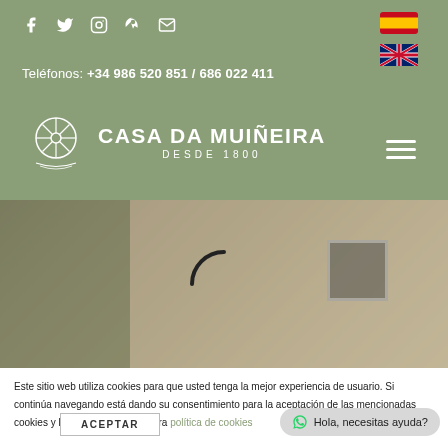[Figure (screenshot): Social media icons: Facebook, Twitter, Instagram, Pinterest, Email — white icons on green header background]
[Figure (screenshot): Spanish flag and UK flag icons for language selection]
Teléfonos: +34 986 520 851 / 686 022 411
[Figure (logo): Casa da Muiñeira logo with mill wheel illustration, text CASA DA MUIÑEIRA DESDE 1800]
[Figure (screenshot): Hamburger menu icon (three horizontal lines) on right side of header]
[Figure (photo): Background photo of stone building facade with trees and window, loading spinner (C shape) overlay in center]
Este sitio web utiliza cookies para que usted tenga la mejor experiencia de usuario. Si continúa navegando está dando su consentimiento para la aceptación de las mencionadas cookies y la aceptación de nuestra política de cookies
ACEPTAR
Hola, necesitas ayuda?